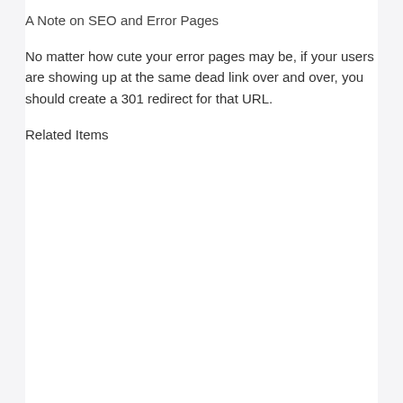A Note on SEO and Error Pages
No matter how cute your error pages may be, if your users are showing up at the same dead link over and over, you should create a 301 redirect for that URL.
Related Items